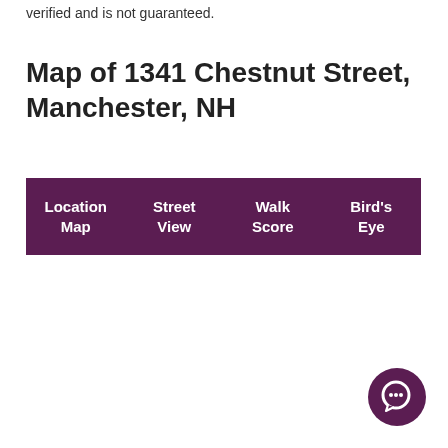verified and is not guaranteed.
Map of 1341 Chestnut Street, Manchester, NH
| Location Map | Street View | Walk Score | Bird's Eye |
| --- | --- | --- | --- |